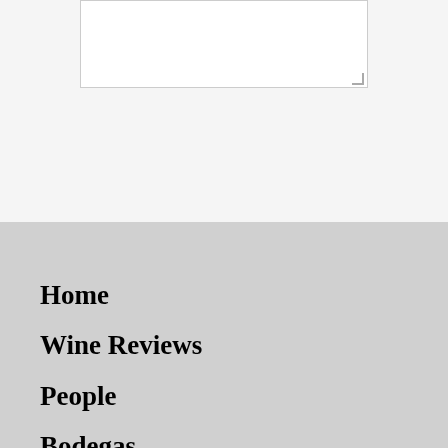[Figure (screenshot): Text area input box with resize handle in bottom-right corner]
Post Comment
Home
Wine Reviews
People
Bodegas